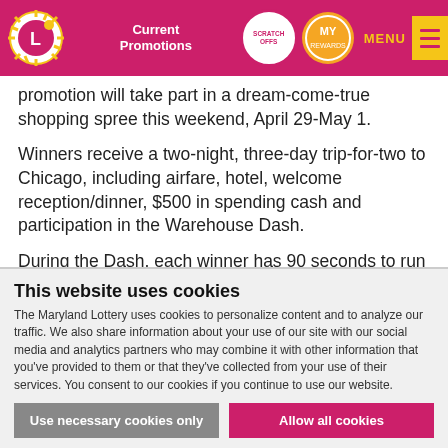Current Promotions | SCRATCH OFFS | MY REWARDS | MENU
promotion will take part in a dream-come-true shopping spree this weekend, April 29-May 1.
Winners receive a two-night, three-day trip-for-two to Chicago, including airfare, hotel, welcome reception/dinner, $500 in spending cash and participation in the Warehouse Dash.
During the Dash, each winner has 90 seconds to run through a merchandise-filled warehouse and grab as many items as possible. Winners and guests will have set roles — one will push the shopping cart while their partner tosses the
This website uses cookies
The Maryland Lottery uses cookies to personalize content and to analyze our traffic. We also share information about your use of our site with our social media and analytics partners who may combine it with other information that you've provided to them or that they've collected from your use of their services. You consent to our cookies if you continue to use our website.
Use necessary cookies only | Allow all cookies